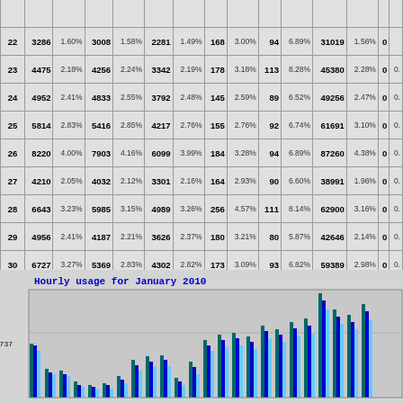| Day | Hits | % Hits | Files | % Files | Pages | % Pages | Visits | % Visits | Sites | % Sites | Bandwidth | % BW | Errors | % Err |
| --- | --- | --- | --- | --- | --- | --- | --- | --- | --- | --- | --- | --- | --- | --- |
| 22 | 3286 | 1.60% | 3008 | 1.58% | 2281 | 1.49% | 168 | 3.00% | 94 | 6.89% | 31019 | 1.56% | 0 |  |
| 23 | 4475 | 2.18% | 4256 | 2.24% | 3342 | 2.19% | 178 | 3.18% | 113 | 8.28% | 45380 | 2.28% | 0 | 0. |
| 24 | 4952 | 2.41% | 4833 | 2.55% | 3792 | 2.48% | 145 | 2.59% | 89 | 6.52% | 49256 | 2.47% | 0 | 0. |
| 25 | 5814 | 2.83% | 5416 | 2.85% | 4217 | 2.76% | 155 | 2.76% | 92 | 6.74% | 61691 | 3.10% | 0 | 0. |
| 26 | 8220 | 4.00% | 7903 | 4.16% | 6099 | 3.99% | 184 | 3.28% | 94 | 6.89% | 87260 | 4.38% | 0 | 0. |
| 27 | 4210 | 2.05% | 4032 | 2.12% | 3301 | 2.16% | 164 | 2.93% | 90 | 6.60% | 38991 | 1.96% | 0 | 0. |
| 28 | 6643 | 3.23% | 5985 | 3.15% | 4989 | 3.26% | 256 | 4.57% | 111 | 8.14% | 62900 | 3.16% | 0 | 0. |
| 29 | 4956 | 2.41% | 4187 | 2.21% | 3626 | 2.37% | 180 | 3.21% | 80 | 5.87% | 42646 | 2.14% | 0 | 0. |
| 30 | 6727 | 3.27% | 5369 | 2.83% | 4302 | 2.82% | 173 | 3.09% | 93 | 6.82% | 59389 | 2.98% | 0 | 0. |
| 31 | 6164 | 3.00% | 5766 | 3.04% | 4389 | 2.87% | 205 | 3.66% | 99 | 7.26% | 68004 | 3.42% | 0 | 0. |
[Figure (bar-chart): Stacked/grouped bar chart showing hourly usage for January 2010, with bars in teal/dark green, blue/dark blue, and light blue colors representing different metrics across hours.]